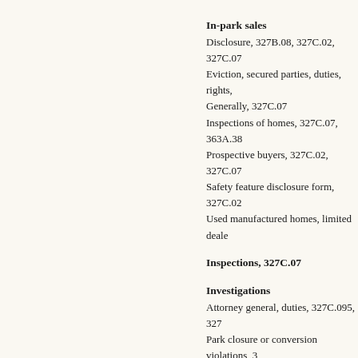In-park sales
Disclosure, 327B.08, 327C.02, 327C.07
Eviction, secured parties, duties, rights,
Generally, 327C.07
Inspections of homes, 327C.07, 363A.38
Prospective buyers, 327C.02, 327C.07
Safety feature disclosure form, 327C.02
Used manufactured homes, limited deale
Inspections, 327C.07
Investigations
Attorney general, duties, 327C.095, 327
Park closure or conversion violations, 3
Lake City, 458.73
Land registration, closure or conversi
Landlords (see Park owners under thi
Lawsuits, 327C.02